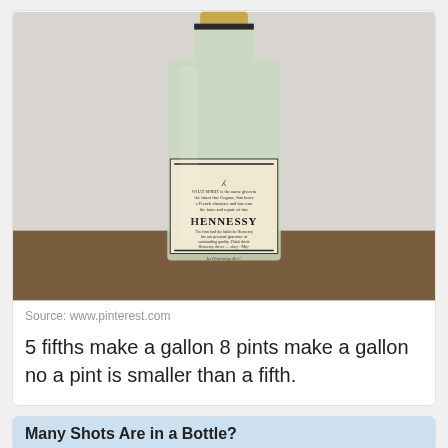[Figure (photo): A Hennessy cognac bottle with a beige label showing the Hennessy brand name and text, photographed against a white wall background.]
Source: www.pinterest.com
5 fifths make a gallon 8 pints make a gallon no a pint is smaller than a fifth.
Many Shots Are in a Bottle?